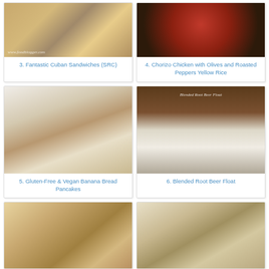[Figure (photo): Photo of a Cuban sandwich sliced open showing layers of meat and cheese]
3. Fantastic Cuban Sandwiches (SRC)
[Figure (photo): Photo of chorizo chicken with olives and roasted peppers in a red bowl with yellow rice]
4. Chorizo Chicken with Olives and Roasted Peppers Yellow Rice
[Figure (photo): Photo of gluten-free and vegan banana bread pancakes stacked on a plate with syrup]
5. Gluten-Free & Vegan Banana Bread Pancakes
[Figure (photo): Photo of a blended root beer float in a glass with whipped cream]
6. Blended Root Beer Float
[Figure (photo): Photo of a cake or loaf in a pan on a blue patterned cloth]
[Figure (photo): Photo of a cheesy gratin dish on a plate]